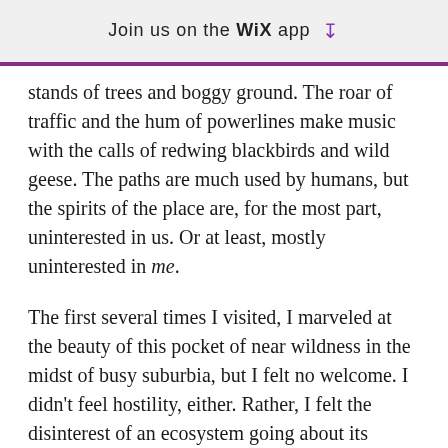Join us on the WiX app ⬇
stands of trees and boggy ground. The roar of traffic and the hum of powerlines make music with the calls of redwing blackbirds and wild geese. The paths are much used by humans, but the spirits of the place are, for the most part, uninterested in us. Or at least, mostly uninterested in me.
The first several times I visited, I marveled at the beauty of this pocket of near wildness in the midst of busy suburbia, but I felt no welcome. I didn't feel hostility, either. Rather, I felt the disinterest of an ecosystem going about its business, and maybe a touch of annoyance when I tried to reach out and have a conversation with some of the stones and trees. But I was allowed in, so I kept